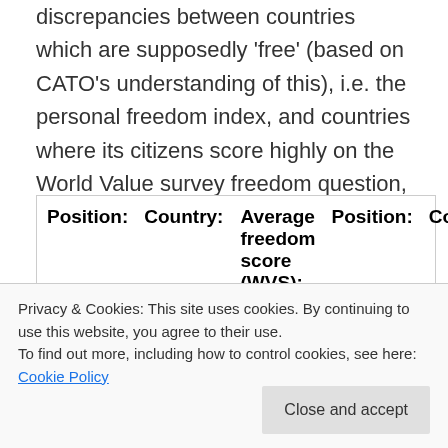discrepancies between countries which are supposedly 'free' (based on CATO's understanding of this), i.e. the personal freedom index, and countries where its citizens score highly on the World Value survey freedom question, i.e. the average freedom score. The two tables are outlined below for one's own analysis:
| Position: | Country: | Average freedom score (WVS): | Position: | Country: |
| --- | --- | --- | --- | --- |
| 3 | Colombia | 6.16 | 2 | Netherland |
Privacy & Cookies: This site uses cookies. By continuing to use this website, you agree to their use.
To find out more, including how to control cookies, see here: Cookie Policy